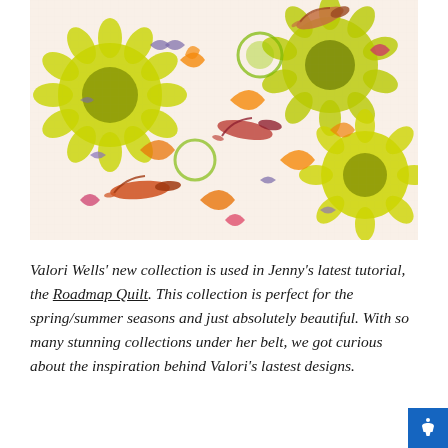[Figure (illustration): Colorful quilt fabric featuring hummingbirds, sunflowers (yellow-green), orange floral scrollwork, purple butterflies and birds, and red/orange decorative patterns on a white background.]
Valori Wells' new collection is used in Jenny's latest tutorial, the Roadmap Quilt. This collection is perfect for the spring/summer seasons and just absolutely beautiful. With so many stunning collections under her belt, we got curious about the inspiration behind Valori's lastest designs.